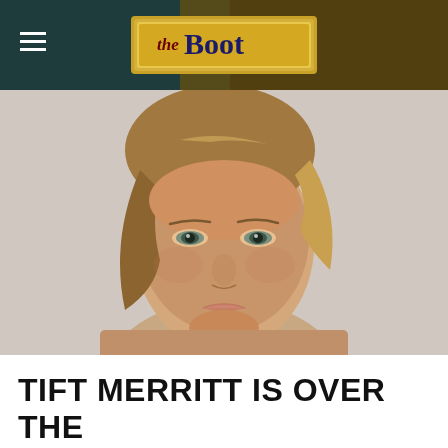the Boot
[Figure (photo): Close-up portrait photo of Tift Merritt, a woman with light brown hair pulled back loosely, looking directly at the camera against a light gray background.]
TIFT MERRITT IS OVER THE 'MOON' FOR HER NEW ALBUM